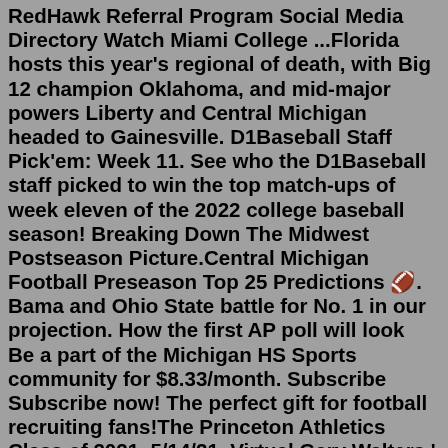RedHawk Referral Program Social Media Directory Watch Miami College ...Florida hosts this year's regional of death, with Big 12 champion Oklahoma, and mid-major powers Liberty and Central Michigan headed to Gainesville. D1Baseball Staff Pick'em: Week 11. See who the D1Baseball staff picked to win the top match-ups of week eleven of the 2022 college baseball season! Breaking Down The Midwest Postseason Picture.Central Michigan Football Preseason Top 25 Predictions 🏈. Bama and Ohio State battle for No. 1 in our projection. How the first AP poll will look  Be a part of the Michigan HS Sports community for $8.33/month. Subscribe Subscribe now! The perfect gift for football recruiting fans!The Princeton Athletics Class of 2021. 5/14/21. Virtual Gary Walters ' 67 PVC Awards Banquet. 5/14/21. Princeton Baseball 2021 Senior Day. 5/10/21. Sights and Sounds: Baseball Intrasquad Scrimmage. 5/10/21. Tig Talks: James Proctor.GRADUTATION YEAR NAME COLLEGE HIGH SCHOOL; 2020: Kyle Zaluski: USC Sumter: Chagrin Falls: 2020: Mitch